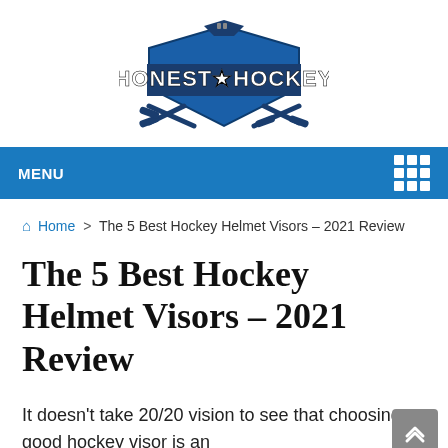[Figure (logo): Honest Hockey logo with crossed hockey sticks, shield and text 'HONEST HOCKEY' in blue and white]
MENU
Home > The 5 Best Hockey Helmet Visors – 2021 Review
The 5 Best Hockey Helmet Visors – 2021 Review
It doesn't take 20/20 vision to see that choosing a good hockey visor is an